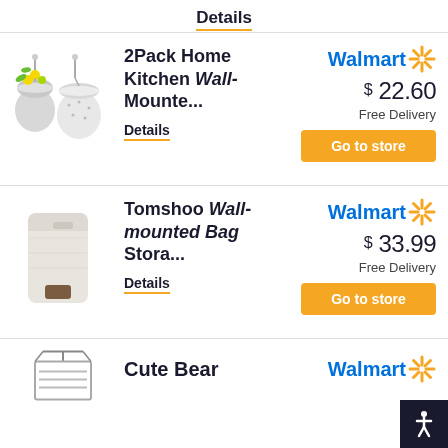Details
[Figure (photo): Two wall-mounted planters/baskets with yellow flowers]
2Pack Home Kitchen Wall-Mounte...
Details
Walmart $22.60 Free Delivery
Go to store
[Figure (photo): White wall-mounted bag storage dispenser unit]
Tomshoo Wall-mounted Bag Stora...
Details
Walmart $33.99 Free Delivery
Go to store
[Figure (photo): Third product partial - Cute Bear]
Cute Bear
Walmart